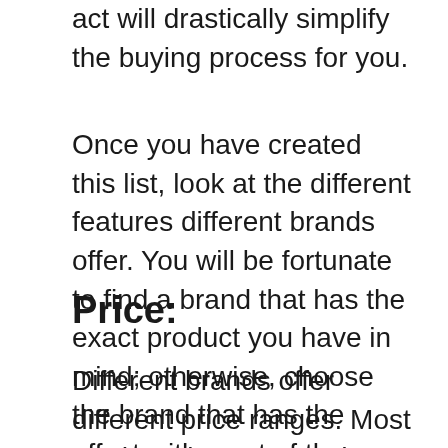act will drastically simplify the buying process for you.
Once you have created this list, look at the different features different brands offer. You will be fortunate to find a brand that has the exact product you have in mind; otherwise, choose the brand that has the effect with most of the features on your list. By doing this, you will find the right product according to your requirements.
Price:
Different brands offer different price ranges. Most products by renowned brands are expensive as compared to newly established brands. Many users test the quality of